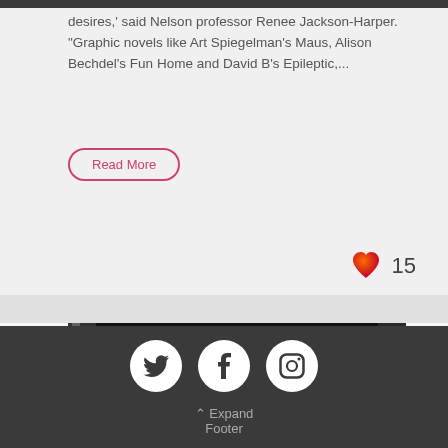desires,' said Nelson professor Renee Jackson-Harper. "Graphic novels like Art Spiegelman's Maus, Alison Bechdel's Fun Home and David B's Epileptic,...
Read More
[Figure (infographic): Heart like icon with count 15]
[Figure (photo): Photo of a young man with reddish-blond hair and beard, looking downward, against a dark background]
Social icons: Twitter, Facebook, Instagram. Expand Footer